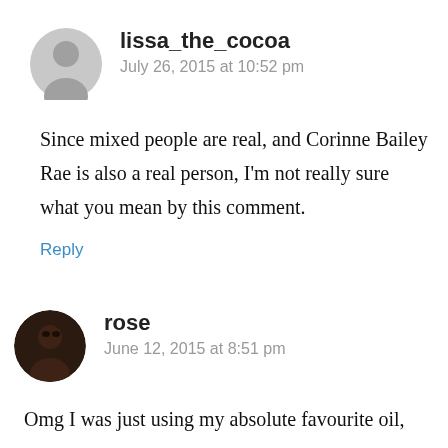[Figure (illustration): Gray circular avatar placeholder with person silhouette icon for user lissa_the_cocoa]
lissa_the_cocoa
July 26, 2015 at 10:52 pm
Since mixed people are real, and Corinne Bailey Rae is also a real person, I'm not really sure what you mean by this comment.
Reply
[Figure (photo): Circular avatar photo of user rose showing a dark-skinned person]
rose
June 12, 2015 at 8:51 pm
Omg I was just using my absolute favourite oil,